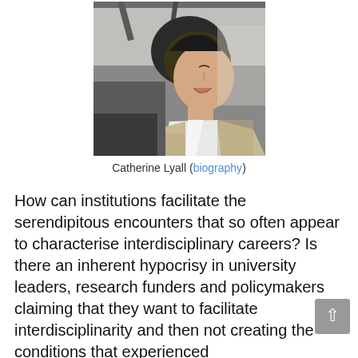[Figure (photo): Black and white/sepia profile photo of Catherine Lyall, a woman with short dark hair, laughing, wearing a white collar and textured jacket]
Catherine Lyall (biography)
How can institutions facilitate the serendipitous encounters that so often appear to characterise interdisciplinary careers? Is there an inherent hypocrisy in university leaders, research funders and policymakers claiming that they want to facilitate interdisciplinarity and then not creating the conditions that experienced interdisciplinarians say they need in order to